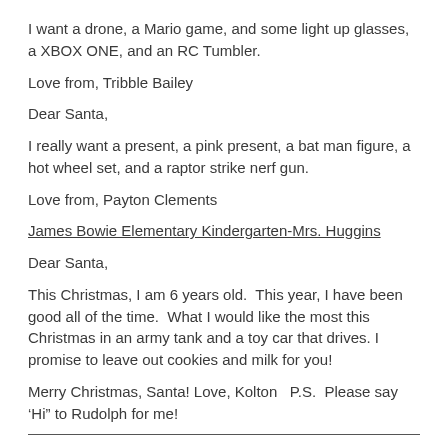I want a drone, a Mario game, and some light up glasses, a XBOX ONE, and an RC Tumbler.
Love from, Tribble Bailey
Dear Santa,
I really want a present, a pink present, a bat man figure, a hot wheel set, and a raptor strike nerf gun.
Love from, Payton Clements
James Bowie Elementary Kindergarten-Mrs. Huggins
Dear Santa,
This Christmas, I am 6 years old.  This year, I have been good all of the time.  What I would like the most this Christmas in an army tank and a toy car that drives. I promise to leave out cookies and milk for you!
Merry Christmas, Santa! Love, Kolton   P.S.  Please say ‘Hi” to Rudolph for me!